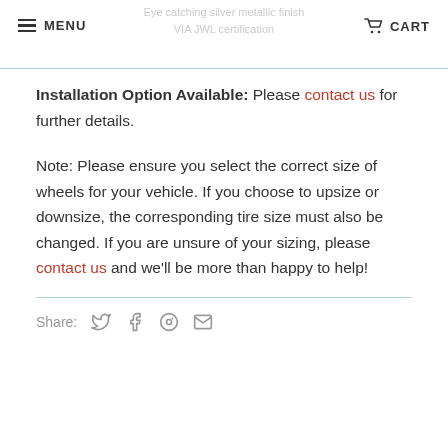MENU | CART
Installation Option Available: Please contact us for further details.
Note: Please ensure you select the correct size of wheels for your vehicle. If you choose to upsize or downsize, the corresponding tire size must also be changed. If you are unsure of your sizing, please contact us and we'll be more than happy to help!
Share: